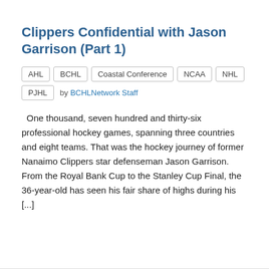Clippers Confidential with Jason Garrison (Part 1)
AHL   BCHL   Coastal Conference   NCAA   NHL   PJHL   by BCHLNetwork Staff
One thousand, seven hundred and thirty-six professional hockey games, spanning three countries and eight teams. That was the hockey journey of former Nanaimo Clippers star defenseman Jason Garrison. From the Royal Bank Cup to the Stanley Cup Final, the 36-year-old has seen his fair share of highs during his [...]